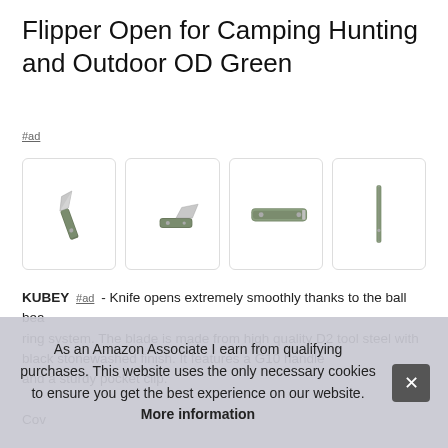Flipper Open for Camping Hunting and Outdoor OD Green
#ad
[Figure (photo): Four product photos of an OD green folding pocket knife shown from different angles: open blade angled, partially open, closed from top, and closed from side/edge view.]
KUBEY #ad - Knife opens extremely smoothly thanks to the ball bearing system. The blade is made from high quality D2 tool steel with black stonewashed finish. It features a G10 handle and a sturdy pocket clip.
As an Amazon Associate I earn from qualifying purchases. This website uses the only necessary cookies to ensure you get the best experience on our website. More information